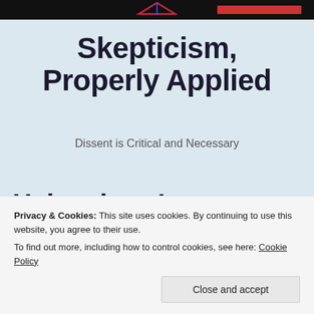Skepticism, Properly Applied
Dissent is Critical and Necessary
Heisenberg’s Uncertainty Priciple and “true
Privacy & Cookies: This site uses cookies. By continuing to use this website, you agree to their use.
To find out more, including how to control cookies, see here: Cookie Policy
Close and accept